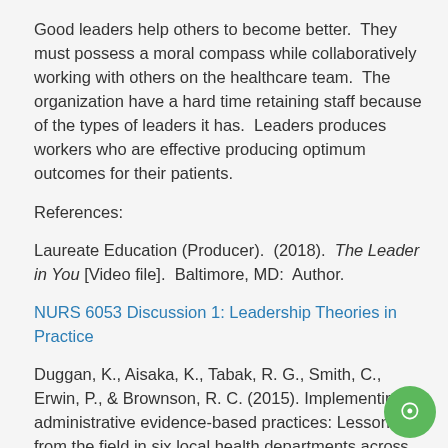Good leaders help others to become better.  They must possess a moral compass while collaboratively working with others on the healthcare team.  The organization have a hard time retaining staff because of the types of leaders it has.  Leaders produces workers who are effective producing optimum outcomes for their patients.
References:
Laureate Education (Producer).  (2018).  The Leader in You [Video file].  Baltimore, MD:  Author.
NURS 6053 Discussion 1: Leadership Theories in Practice
Duggan, K., Aisaka, K., Tabak, R. G., Smith, C., Erwin, P., & Brownson, R. C. (2015). Implementing administrative evidence-based practices: Lessons from the field in six local health departments acro...